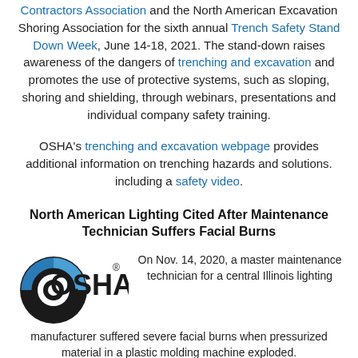Contractors Association and the North American Excavation Shoring Association for the sixth annual Trench Safety Stand Down Week, June 14-18, 2021. The stand-down raises awareness of the dangers of trenching and excavation and promotes the use of protective systems, such as sloping, shoring and shielding, through webinars, presentations and individual company safety training.
OSHA's trenching and excavation webpage provides additional information on trenching hazards and solutions. including a safety video.
North American Lighting Cited After Maintenance Technician Suffers Facial Burns
On Nov. 14, 2020, a master maintenance technician for a central Illinois lighting manufacturer suffered severe facial burns when pressurized material in a plastic molding machine exploded.